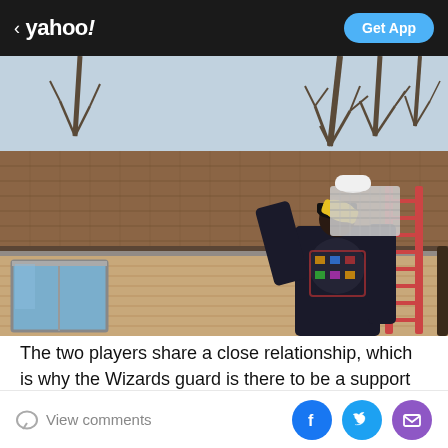< yahoo! | Get App
[Figure (photo): A person standing on a ladder with their back to the camera, carrying a large bundle of gutter guard mesh material, installing it on the roofline of a house with brown shingles. Trees visible in background, winter/fall season.]
The two players share a close relationship, which is why the Wizards guard is there to be a support system for his friend…
View comments | Facebook | Twitter | Email